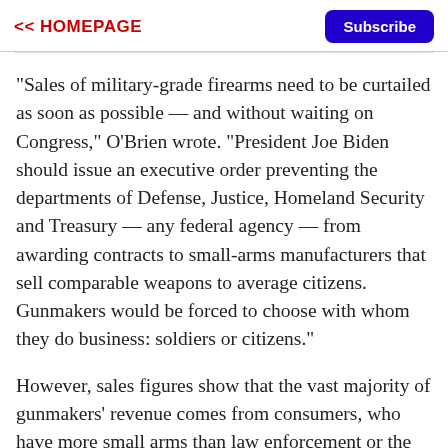<< HOMEPAGE   Subscribe
"Sales of military-grade firearms need to be curtailed as soon as possible — and without waiting on Congress," O'Brien wrote. "President Joe Biden should issue an executive order preventing the departments of Defense, Justice, Homeland Security and Treasury — any federal agency — from awarding contracts to small-arms manufacturers that sell comparable weapons to average citizens. Gunmakers would be forced to choose with whom they do business: soldiers or citizens."
However, sales figures show that the vast majority of gunmakers' revenue comes from consumers, who have more small arms than law enforcement or the military,